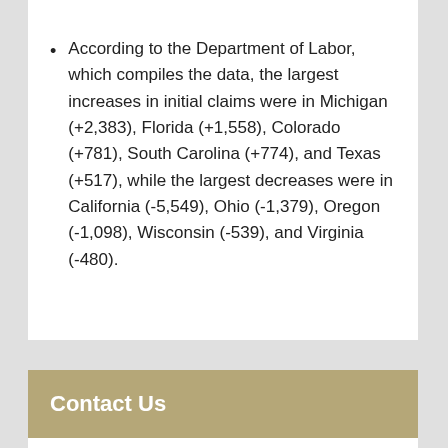According to the Department of Labor, which compiles the data, the largest increases in initial claims were in Michigan (+2,383), Florida (+1,558), Colorado (+781), South Carolina (+774), and Texas (+517), while the largest decreases were in California (-5,549), Ohio (-1,379), Oregon (-1,098), Wisconsin (-539), and Virginia (-480).
Contact Us